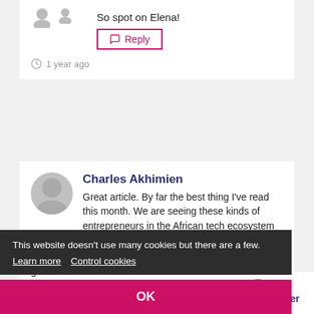So spot on Elena!
Reply
1 year ago
Charles Akhimien
Great article. By far the best thing I've read this month. We are seeing these kinds of entrepreneurs in the African tech ecosystem too. They're not only deceitful, but they harm the ecosystem in general
Reply
This website doesn't use many cookies but there are a few. Learn more  Control cookies
OK
A User